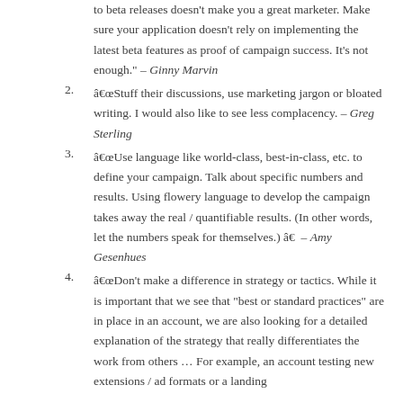to beta releases doesn’t make you a great marketer. Make sure your application doesn’t rely on implementing the latest beta features as proof of campaign success. It’s not enough.” – Ginny Marvin
“Stuff their discussions, use marketing jargon or bloated writing. I would also like to see less complacency. – Greg Sterling
“Use language like world-class, best-in-class, etc. to define your campaign. Talk about specific numbers and results. Using flowery language to develop the campaign takes away the real / quantifiable results. (In other words, let the numbers speak for themselves.) â€” – Amy Gesenhues
“Don’t make a difference in strategy or tactics. While it is important that we see that “best or standard practices” are in place in an account, we are also looking for a detailed explanation of the strategy that really differentiates the work from others … For example, an account testing new extensions / ad formats or a landing